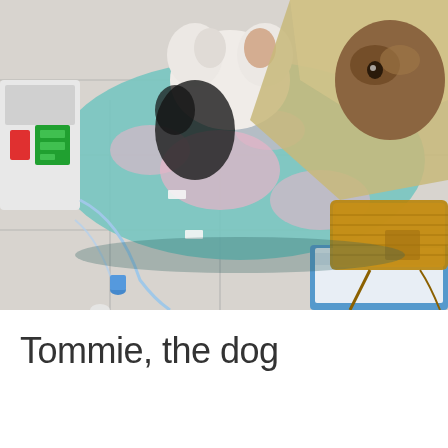[Figure (photo): A dog (Tommie) lying on a colorful teal, pink, and white patterned blanket/dog bed on a tiled floor in what appears to be a veterinary clinic. The dog has a stuffed toy animal beside it and is covered with a tan/beige blanket. Medical equipment is visible on the left including an IV pump with red and green indicators. IV tubing and connectors are on the floor. On the right is a medical drainage bag containing amber/yellow-brown fluid in a blue tray with white pads.]
Tommie, the dog